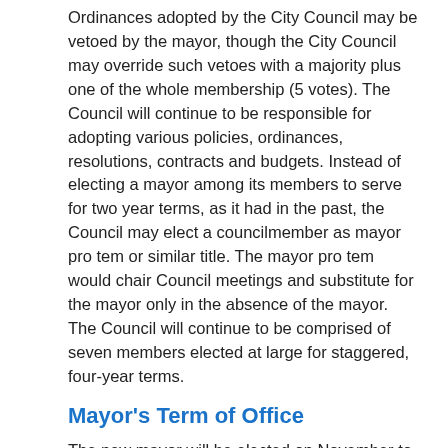Ordinances adopted by the City Council may be vetoed by the mayor, though the City Council may override such vetoes with a majority plus one of the whole membership (5 votes). The Council will continue to be responsible for adopting various policies, ordinances, resolutions, contracts and budgets. Instead of electing a mayor among its members to serve for two year terms, as it had in the past, the Council may elect a councilmember as mayor pro tem or similar title. The mayor pro tem would chair Council meetings and substitute for the mayor only in the absence of the mayor. The Council will continue to be comprised of seven members elected at large for staggered, four-year terms.
Mayor's Term of Office
The new mayor will be elected on November to serve a four-year term ending on December 31, 2021. Changes to the City's form of government were set in motion when voters approved a proposition on the 2016 general election ballot.